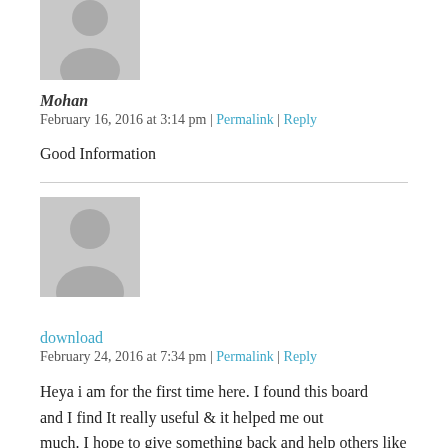[Figure (illustration): Gray placeholder avatar silhouette for user Mohan, top of page, partially visible]
Mohan
February 16, 2016 at 3:14 pm | Permalink | Reply
Good Information
[Figure (illustration): Gray placeholder avatar silhouette for user download]
download
February 24, 2016 at 7:34 pm | Permalink | Reply
Heya i am for the first time here. I found this board and I find It really useful & it helped me out much. I hope to give something back and help others like you aided me.